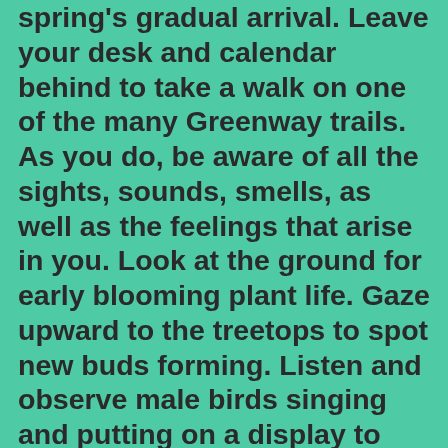spring's gradual arrival. Leave your desk and calendar behind to take a walk on one of the many Greenway trails. As you do, be aware of all the sights, sounds, smells, as well as the feelings that arise in you. Look at the ground for early blooming plant life. Gaze upward to the treetops to spot new buds forming. Listen and observe male birds singing and putting on a display to court a mate. Observe birds gathering twigs from the forest floor to build their nests.  Smell the fresh scent of new plant growth. Feel the warmth of the Sun on your face.  Check out branches above you and you may just spot a furry animal looking back at you.
Our volunteers will be busy, too.  The plan is to demolish the existing tool shed and replace it with a new one. This will provide